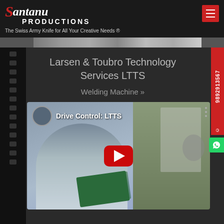[Figure (logo): Santanu Productions logo with cursive text and tagline]
The Swiss Army Knife for All Your Creative Needs ®
[Figure (screenshot): Banner image strip at top of page content]
Larsen & Toubro Technology Services LTTS
Welding Machine »
[Figure (screenshot): YouTube video thumbnail showing a man holding a green circuit board with title Drive Control: LTTS and a red play button overlay]
© 9892913567